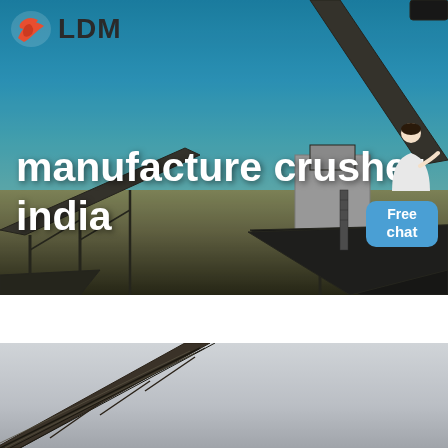[Figure (photo): Industrial crusher/conveyor belt facility in India under clear blue sky, with large conveyor structures and aggregate piles. LDM logo and 'manufacture crusher india' text overlaid on image. Chat bubble with person icon at right.]
manufacture crusher india
[Figure (photo): Second photo showing diagonal conveyor belt structure against overcast sky, industrial mining equipment.]